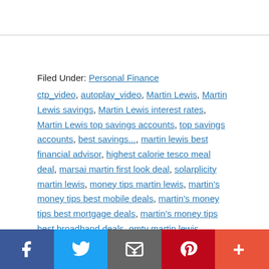Filed Under: Personal Finance
ctp_video, autoplay_video, Martin Lewis, Martin Lewis savings, Martin Lewis interest rates, Martin Lewis top savings accounts, top savings accounts, best savings..., martin lewis best financial advisor, highest calorie tesco meal deal, marsai martin first look deal, solarplicity martin lewis, money tips martin lewis, martin's money tips best mobile deals, martin's money tips best mortgage deals, martin's money tips best broadband deals, gmtv martin lewis, premier league highest points, martin en lewis, martin lewis how to contact, martin lewis how much can i borrow, gmtv martin lewis today,
[Figure (other): Social sharing bar with Facebook, Twitter, Email, Pinterest, and More buttons]